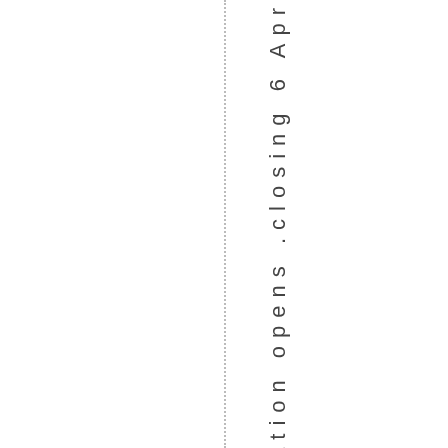.Consultation opens .closing 6 Apr